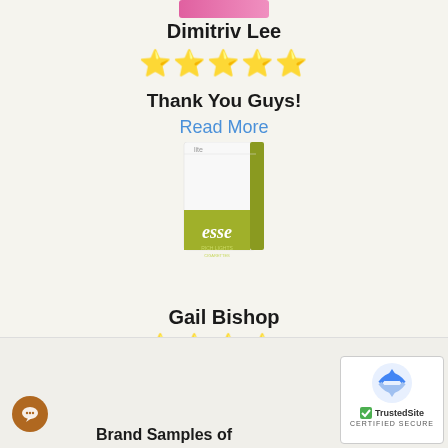[Figure (photo): Partial view of a pink product (cropped at top)]
Dimitriv Lee
★★★★★ (5 gold stars)
Thank You Guys!
Read More
[Figure (photo): Product box of Esse cigarettes, white and olive/yellow-green color]
Gail Bishop
★★★★☆ (4 gold stars, 1 grey star)
Fastest Turnaround
Read More
Brand Samples of
[Figure (logo): TrustedSite Certified Secure badge with reCAPTCHA logo]
[Figure (other): Chat button (brown circle with chat icon)]